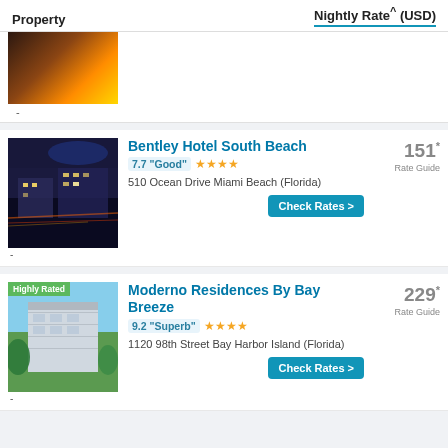| Property | Nightly Rate^ (USD) |
| --- | --- |
| [image] | - |
| Bentley Hotel South Beach
7.7 "Good" ★★★★
510 Ocean Drive Miami Beach (Florida) | 151*
Rate Guide |
| Moderno Residences By Bay Breeze
9.2 "Superb" ★★★★
1120 98th Street Bay Harbor Island (Florida) | 229*
Rate Guide |